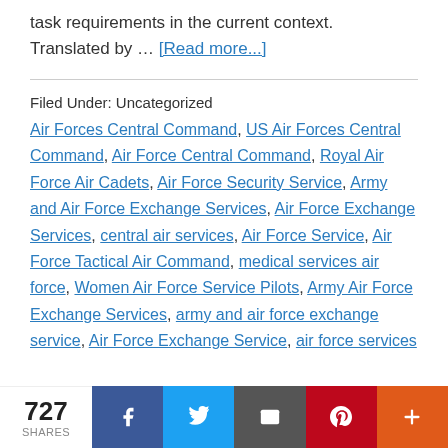task requirements in the current context. Translated by … [Read more...]
Filed Under: Uncategorized
Air Forces Central Command, US Air Forces Central Command, Air Force Central Command, Royal Air Force Air Cadets, Air Force Security Service, Army and Air Force Exchange Services, Air Force Exchange Services, central air services, Air Force Service, Air Force Tactical Air Command, medical services air force, Women Air Force Service Pilots, Army Air Force Exchange Services, army and air force exchange service, Air Force Exchange Service, air force services
727 SHARES | Facebook | Twitter | Email | Pinterest | More